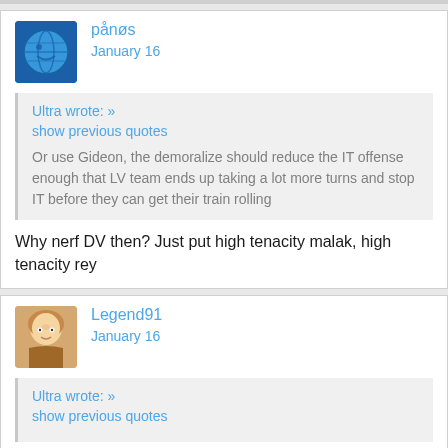pånøs
January 16
Ultra wrote: » show previous quotes
Or use Gideon, the demoralize should reduce the IT offense enough that LV team ends up taking a lot more turns and stop IT before they can get their train rolling
Why nerf DV then? Just put high tenacity malak, high tenacity rey
Legend91
January 16
Ultra wrote: » show previous quotes